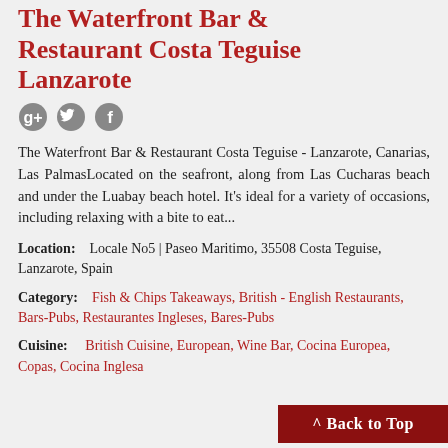The Waterfront Bar & Restaurant Costa Teguise Lanzarote
[Figure (other): Social media icons: Google+, Twitter, Facebook]
The Waterfront Bar & Restaurant Costa Teguise - Lanzarote, Canarias, Las PalmasLocated on the seafront, along from Las Cucharas beach and under the Luabay beach hotel. It's ideal for a variety of occasions, including relaxing with a bite to eat...
Location: Locale No5 | Paseo Maritimo, 35508 Costa Teguise, Lanzarote, Spain
Category: Fish & Chips Takeaways, British - English Restaurants, Bars-Pubs, Restaurantes Ingleses, Bares-Pubs
Cuisine: British Cuisine, European, Wine Bar, Cocina Europea, Copas, Cocina Inglesa